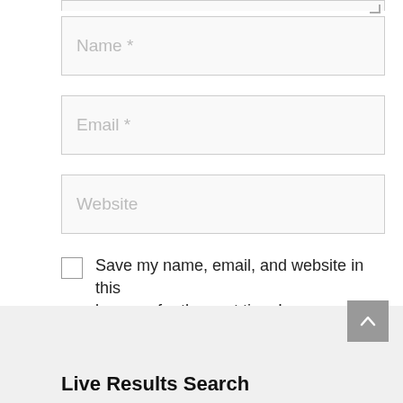Name *
Email *
Website
Save my name, email, and website in this browser for the next time I comment.
Post Comment
Live Results Search